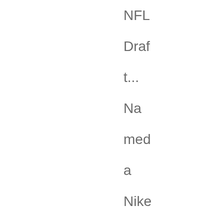NFL Draft... Named a Nike NFL Jerseys Supply second-team All-